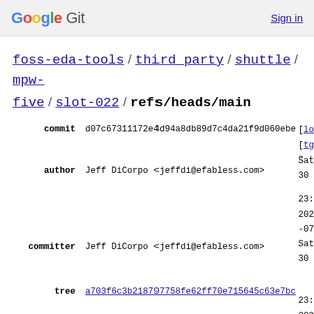Google Git  Sign in
foss-eda-tools / third_party / shuttle / mpw-five / slot-022 / refs/heads/main
commit d07c67311172e4d94a8db89d7c4da21f9d060ebe [lo... [tg... Sat 30 23: 202 -07 Sat 30
author Jeff DiCorpo <jeffdi@efabless.com> 23: 202 -07 Sat 30
committer Jeff DiCorpo <jeffdi@efabless.com> 23: 202 -07
tree a703f6c3b218797758fe62ff70e715645c63e7bc